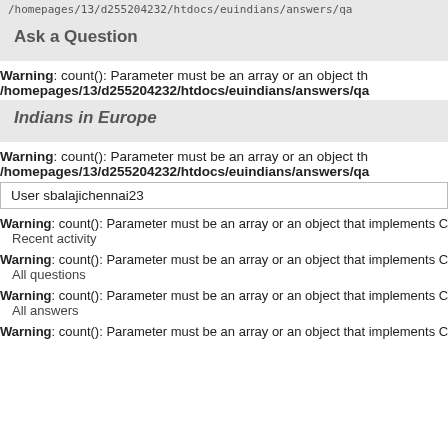/homepages/13/d255204232/htdocs/euindians/answers/qa
Ask a Question
Warning: count(): Parameter must be an array or an object th
/homepages/13/d255204232/htdocs/euindians/answers/qa
Indians in Europe
Warning: count(): Parameter must be an array or an object th
/homepages/13/d255204232/htdocs/euindians/answers/qa
User sbalajichennai23
Warning: count(): Parameter must be an array or an object that implements Countable in a
Recent activity
Warning: count(): Parameter must be an array or an object that implements Countable in a
All questions
Warning: count(): Parameter must be an array or an object that implements Countable in a
All answers
Warning: count(): Parameter must be an array or an object that implements Countable in a